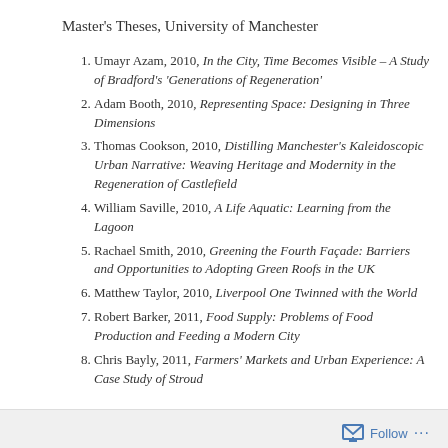Master's Theses, University of Manchester
Umayr Azam, 2010, In the City, Time Becomes Visible – A Study of Bradford's 'Generations of Regeneration'
Adam Booth, 2010, Representing Space: Designing in Three Dimensions
Thomas Cookson, 2010, Distilling Manchester's Kaleidoscopic Urban Narrative: Weaving Heritage and Modernity in the Regeneration of Castlefield
William Saville, 2010, A Life Aquatic: Learning from the Lagoon
Rachael Smith, 2010, Greening the Fourth Façade: Barriers and Opportunities to Adopting Green Roofs in the UK
Matthew Taylor, 2010, Liverpool One Twinned with the World
Robert Barker, 2011, Food Supply: Problems of Food Production and Feeding a Modern City
Chris Bayly, 2011, Farmers' Markets and Urban Experience: A Case Study of Stroud
Follow